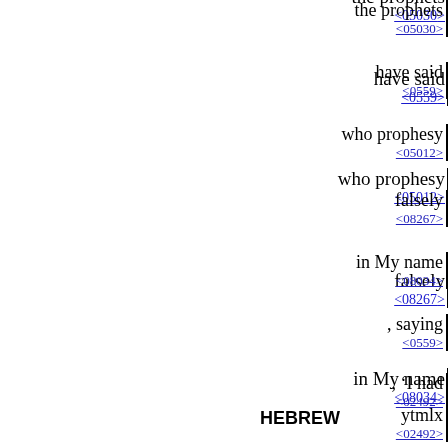the prophets <05030>
have said <0559>
who prophesy <05012>
falsely <08267>
in My name <08034>
, saying <0559>
, 'I had <02492>
a dream <02492>
, I had <02492>
a dream <02492>
HEBREW ytmlx <02492>